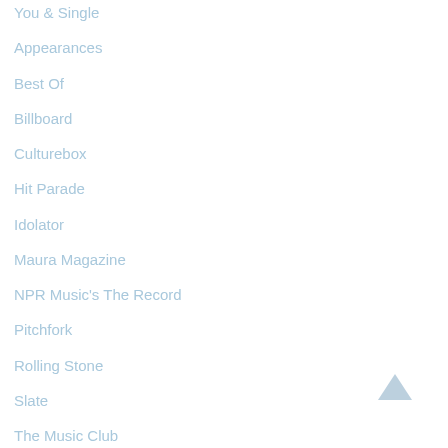You & Single
Appearances
Best Of
Billboard
Culturebox
Hit Parade
Idolator
Maura Magazine
NPR Music's The Record
Pitchfork
Rolling Stone
Slate
The Music Club
Vampire Weekend
Village Voice